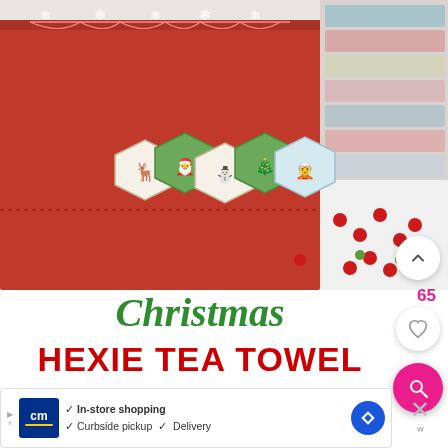[Figure (photo): A red Christmas tea towel decorated with hexagonal fabric patches (hexies) featuring Christmas characters including a reindeer, santa, and other festive designs. Fabric patches are in red, green, and light blue. Red felt balls scattered around. A snowflake garland at the top. A stack of Christmas fabric bolts visible on the right side.]
Christmas
HEXIE TEA TOWEL
In-store shopping  Curbside pickup  Delivery